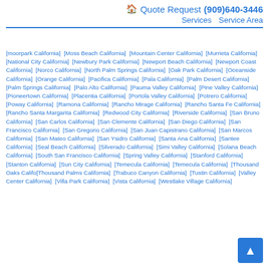🏠 Quote Request (909)640-3446 | Services Service Area
[moorpark California] [Moss Beach California] [Mountain Center California] [Murrieta California] [National City California] [Newbury Park California] [Newport Beach California] [Newport Coast California] [Norco California] [North Palm Springs California] [Oak Park California] [Oceanside California] [Orange California] [Pacifica California] [Pala California] [Palm Desert California] [Palm Springs California] [Palo Alto California] [Pauma Valley California] [Pine Valley California] [Pioneertown California] [Placentia California] [Portola Valley California] [Potrero California] [Poway California] [Ramona California] [Rancho Mirage California] [Rancho Santa Fe California] [Rancho Santa Margarita California] [Redwood City California] [Riverside California] [San Bruno California] [San Carlos California] [San Clemente California] [San Diego California] [San Francisco California] [San Gregorio California] [San Juan Capistrano California] [San Marcos California] [San Mateo California] [San Ysidro California] [Santa Ana California] [Santee California] [Seal Beach California] [Silverado California] [Simi Valley California] [Solana Beach California] [South San Francisco California] [Spring Valley California] [Stanford California] [Stanton California] [Sun City California] [Te... California] [Temecula California] [Thousand Oaks Califo... [Thousand Palms California] [Trabuco Canyon California] [Tustin California] [Valley Center California] [Villa Park California] [Vista California] [Westlake Village California]